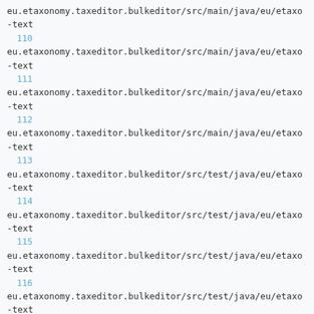eu.etaxonomy.taxeditor.bulkeditor/src/main/java/eu/etaxo
-text
110
eu.etaxonomy.taxeditor.bulkeditor/src/main/java/eu/etaxo
-text
111
eu.etaxonomy.taxeditor.bulkeditor/src/main/java/eu/etaxo
-text
112
eu.etaxonomy.taxeditor.bulkeditor/src/main/java/eu/etaxo
-text
113
eu.etaxonomy.taxeditor.bulkeditor/src/test/java/eu/etaxo
-text
114
eu.etaxonomy.taxeditor.bulkeditor/src/test/java/eu/etaxo
-text
115
eu.etaxonomy.taxeditor.bulkeditor/src/test/java/eu/etaxo
-text
116
eu.etaxonomy.taxeditor.bulkeditor/src/test/java/eu/etaxo
-text
117
eu.etaxonomy.taxeditor.bulkeditor/src/test/java/eu/etaxo